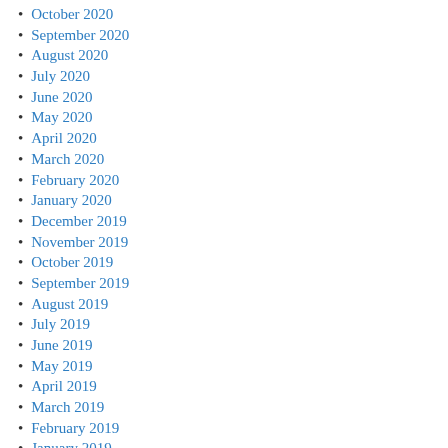October 2020
September 2020
August 2020
July 2020
June 2020
May 2020
April 2020
March 2020
February 2020
January 2020
December 2019
November 2019
October 2019
September 2019
August 2019
July 2019
June 2019
May 2019
April 2019
March 2019
February 2019
January 2019
December 2018
November 2018
October 2018